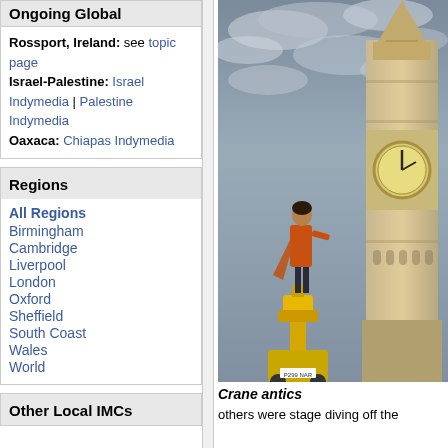Ongoing Global
Rossport, Ireland: see topic page
Israel-Palestine: Israel Indymedia | Palestine Indymedia
Oaxaca: Chiapas Indymedia
Regions
All Regions
Birmingham
Cambridge
Liverpool
London
Oxford
Sheffield
South Coast
Wales
World
Other Local IMCs
[Figure (photo): Person standing on top of a crane or cherry picker in front of Big Ben (Elizabeth Tower), London, under a dramatic cloudy sky. The person is wearing an orange/red jacket.]
Crane antics
others were stage diving off the